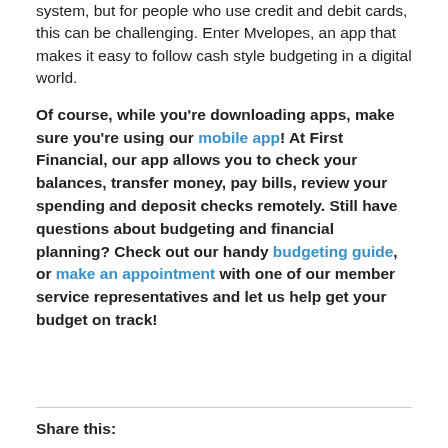system, but for people who use credit and debit cards, this can be challenging. Enter Mvelopes, an app that makes it easy to follow cash style budgeting in a digital world.
Of course, while you're downloading apps, make sure you're using our mobile app! At First Financial, our app allows you to check your balances, transfer money, pay bills, review your spending and deposit checks remotely. Still have questions about budgeting and financial planning? Check out our handy budgeting guide, or make an appointment with one of our member service representatives and let us help get your budget on track!
Share this: